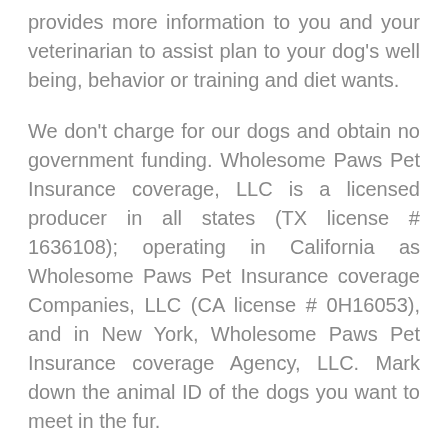provides more information to you and your veterinarian to assist plan to your dog's well being, behavior or training and diet wants.
We don't charge for our dogs and obtain no government funding. Wholesome Paws Pet Insurance coverage, LLC is a licensed producer in all states (TX license # 1636108); operating in California as Wholesome Paws Pet Insurance coverage Companies, LLC (CA license # 0H16053), and in New York, Wholesome Paws Pet Insurance coverage Agency, LLC. Mark down the animal ID of the dogs you want to meet in the fur.
A dog license prices $8.50 per year for spayed or neutered dogs or $34 per year